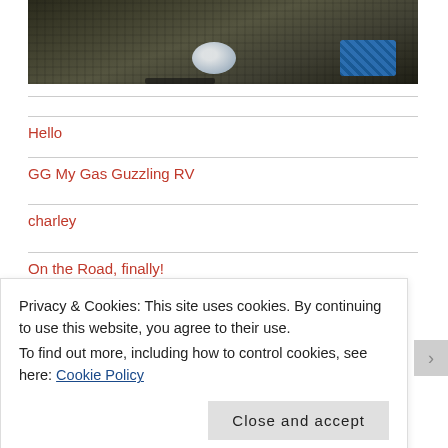[Figure (photo): Close-up photo of items inside a mesh/fabric bag or car organizer, including a plastic water bottle and a blue padded item, with dark fabric background.]
Hello
GG My Gas Guzzling RV
charley
On the Road, finally!
Privacy & Cookies: This site uses cookies. By continuing to use this website, you agree to their use.
To find out more, including how to control cookies, see here: Cookie Policy
Close and accept